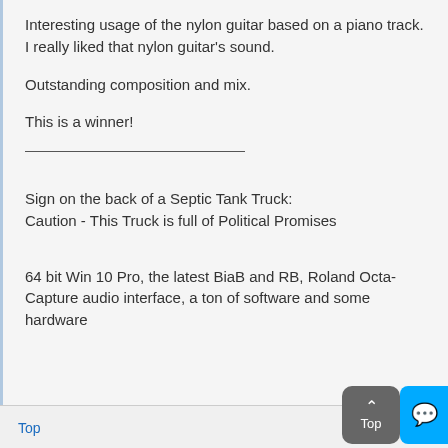Interesting usage of the nylon guitar based on a piano track. I really liked that nylon guitar's sound.
Outstanding composition and mix.
This is a winner!
Sign on the back of a Septic Tank Truck:
Caution - This Truck is full of Political Promises
64 bit Win 10 Pro, the latest BiaB and RB, Roland Octa-Capture audio interface, a ton of software and some hardware
Top